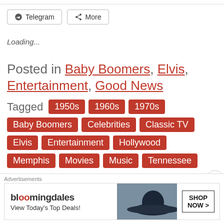Telegram | More
Loading...
Posted in Baby Boomers, Elvis, Entertainment, Good News
Tagged 1950s 1960s 1970s Baby Boomers Celebrities Classic TV Elvis Entertainment Hollywood Memphis Movies Music Tennessee
1 Comment
[Figure (other): Bloomingdales advertisement: bloomingdales logo, View Today's Top Deals!, SHOP NOW >]
Advertisements